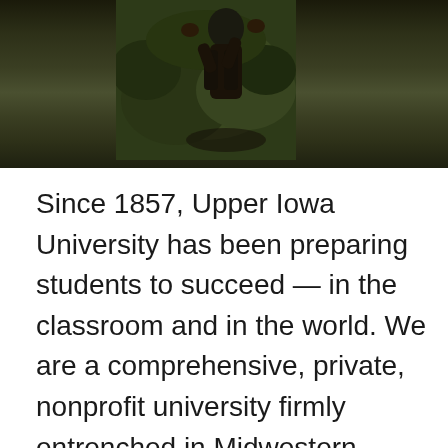[Figure (photo): Outdoor photograph showing a person in dark clothing against a lush green background/landscape, partially cropped at the top of the page.]
Since 1857, Upper Iowa University has been preparing students to succeed — in the classroom and in the world. We are a comprehensive, private, nonprofit university firmly entrenched in Midwestern values and dedicated to providing students with the most flexible and accessible education experience possible. We offer an innovative academic model, and students choose from more than 40 high-quality bachelor's and master's